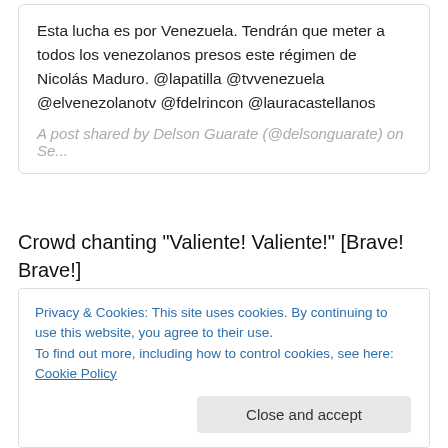Esta lucha es por Venezuela. Tendrán que meter a todos los venezolanos presos este régimen de Nicolás Maduro. @lapatilla @tvvenezuela @elvenezolanotv @fdelrincon @lauracastellanos
A post shared by Delson Guarate (@delsonguarate) on Se...
Crowd chanting "Valiente! Valiente!" [Brave! Brave!]
Guarate: This is a fight for Venezuela. This fight is in the hands of Venezuelans. They're going to have to fill whole
Privacy & Cookies: This site uses cookies. By continuing to use this website, you agree to their use.
To find out more, including how to control cookies, see here: Cookie Policy